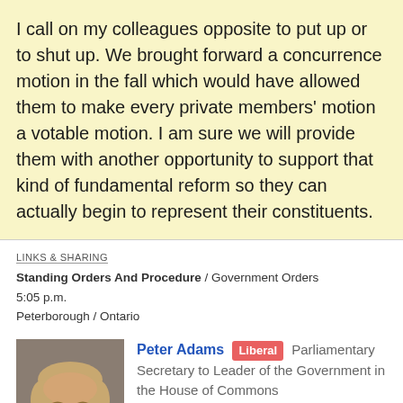I call on my colleagues opposite to put up or to shut up. We brought forward a concurrence motion in the fall which would have allowed them to make every private members' motion a votable motion. I am sure we will provide them with another opportunity to support that kind of fundamental reform so they can actually begin to represent their constituents.
LINKS & SHARING
Standing Orders And Procedure / Government Orders
5:05 p.m.
Peterborough / Ontario
[Figure (photo): Portrait photo of Peter Adams, a middle-aged man with light hair, smiling, wearing a dark suit]
Peter Adams  Liberal  Parliamentary Secretary to Leader of the Government in the House of Commons
Madam Speaker, I am pleased that we are having this debate on the standing orders, the rules around which the House of Commons organizes itself.